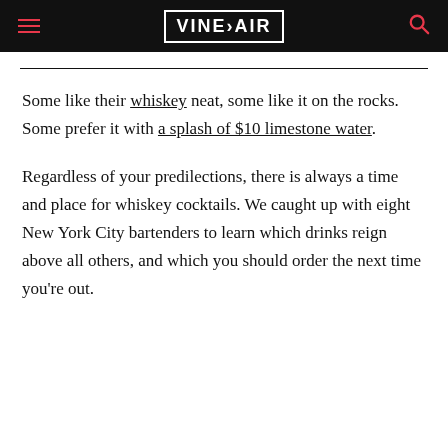VINEPAIR
Some like their whiskey neat, some like it on the rocks. Some prefer it with a splash of $10 limestone water.
Regardless of your predilections, there is always a time and place for whiskey cocktails. We caught up with eight New York City bartenders to learn which drinks reign above all others, and which you should order the next time you're out.